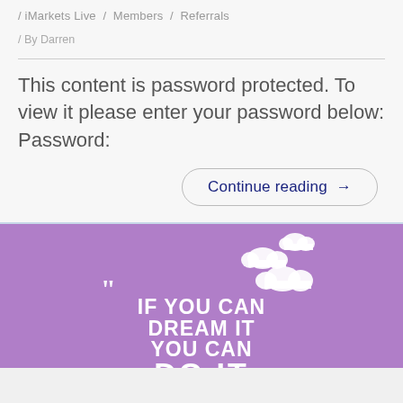/ iMarkets Live  /  Members  /  Referrals
/ By Darren
This content is password protected. To view it please enter your password below: Password:
Continue reading →
[Figure (illustration): Purple motivational poster with white clouds and bold white text reading: "IF YOU CAN DREAM IT YOU CAN DO IT" with a large opening quotation mark]